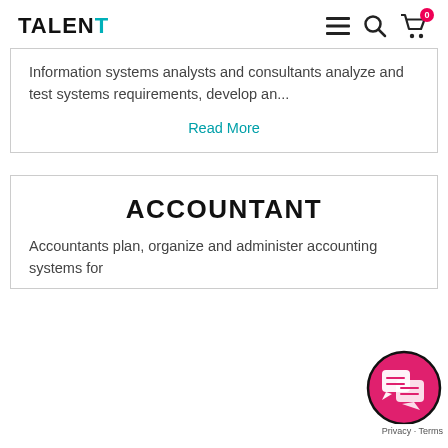TALENT
Information systems analysts and consultants analyze and test systems requirements, develop an...
Read More
ACCOUNTANT
Accountants plan, organize and administer accounting systems for